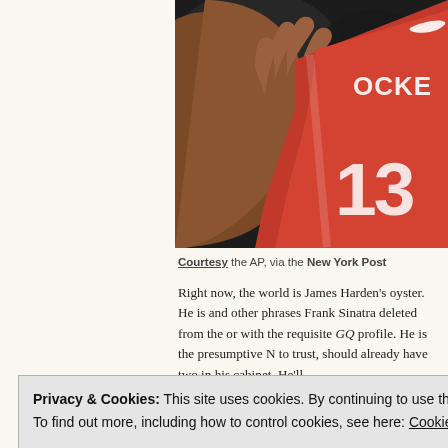[Figure (photo): Basketball player wearing Houston Rockets red jersey number 13, cropped view showing torso, arm, and hand gesturing, dark background]
Courtesy the AP, via the New York Post
Right now, the world is James Harden's oyster. He is and other phrases Frank Sinatra deleted from the or with the requisite GQ profile. He is the presumptive N to trust, should already have two in his cabinet. He'll
Privacy & Cookies: This site uses cookies. By continuing to use this website, you agree to their use.
To find out more, including how to control cookies, see here: Cookie Policy
Close and accept
share some of the load in the back court and promp